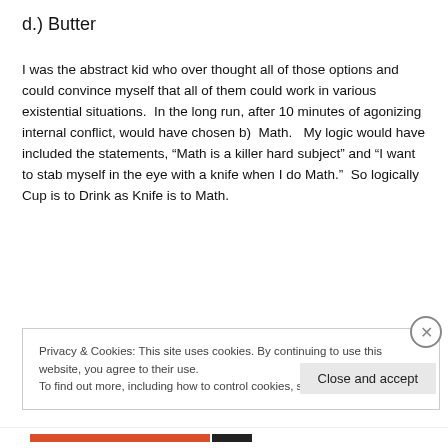d.) Butter
I was the abstract kid who over thought all of those options and could convince myself that all of them could work in various existential situations.  In the long run, after 10 minutes of agonizing internal conflict, would have chosen b)  Math.   My logic would have included the statements, “Math is a killer hard subject” and “I want to stab myself in the eye with a knife when I do Math.”  So logically Cup is to Drink as Knife is to Math.
Privacy & Cookies: This site uses cookies. By continuing to use this website, you agree to their use.
To find out more, including how to control cookies, see here: Cookie Policy